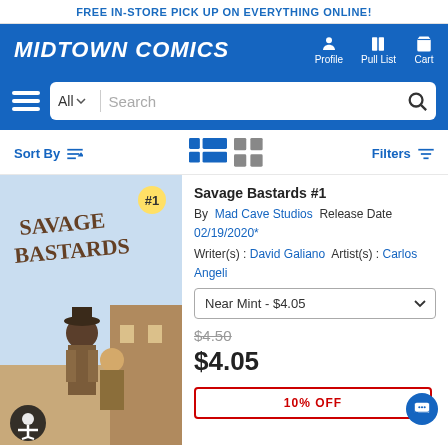FREE IN-STORE PICK UP ON EVERYTHING ONLINE!
[Figure (logo): Midtown Comics logo and navigation bar with Profile, Pull List, Cart icons]
[Figure (screenshot): Search bar with All category dropdown and Search input field]
Sort By | view icons | Filters
[Figure (photo): Comic book cover: Savage Bastards #1 showing two western characters]
Savage Bastards #1
By Mad Cave Studios Release Date 02/19/2020*
Writer(s) : David Galiano  Artist(s) : Carlos Angeli
Near Mint - $4.05
$4.50
$4.05
10% OFF